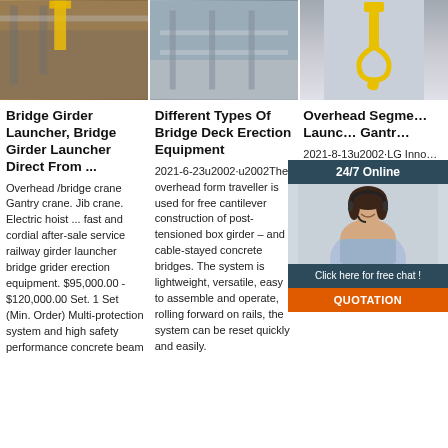[Figure (photo): Photo of bridge girder launcher crane in industrial setting with yellow crane visible]
[Figure (photo): Photo of bridge deck erection equipment inside a large industrial warehouse]
[Figure (photo): Close-up photo of yellow crane hook against light background]
Bridge Girder Launcher, Bridge Girder Launcher Direct From ...
Overhead /bridge crane Gantry crane. Jib crane. Electric hoist ... fast and cordial after-sale service railway girder launcher bridge grider erection equipment. $95,000.00 - $120,000.00 Set. 1 Set (Min. Order) Multi-protection system and high safety performance concrete beam
Different Types Of Bridge Deck Erection Equipment
2021-6-23u2002·u2002The overhead form traveller is used for free cantilever construction of post-tensioned box girder – and cable-stayed concrete bridges. The system is lightweight, versatile, easy to assemble and operate, rolling forward on rails, the system can be reset quickly and easily.
Overhead Segment Launcher, Gantry
2021-8-13u2002·LG Inno... Huada Heavy Industry... as-you-go... is a special method for glued span-by-span bridges. A stiff main girder allows limited pre-loading of the LG, avoiding time-consuming double handling. A symmetrical system
[Figure (screenshot): 24/7 Online chat widget with agent photo, click here for free chat message, and QUOTATION button]